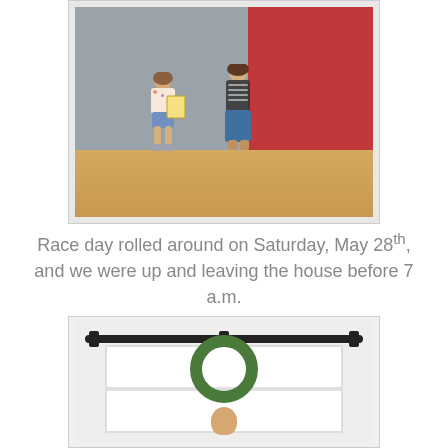[Figure (photo): Two girls posing together indoors, one holding a certificate/award. The setting appears to be a school gym or similar space with gray cinder block walls on the left and a red wall on the right. The floor is wooden/hardwood. The girl on the left is younger and wearing a floral top and denim shorts holding a framed certificate. The older girl on the right wears a striped top and jeans.]
Race day rolled around on Saturday, May 28th, and we were up and leaving the house before 7 a.m.
[Figure (photo): A person peeking through/behind a white barn-style sliding door decorated with a green wreath. The barn door hardware (black metal rail and brackets) is visible at the top. The person's smiling face is visible below the wreath.]